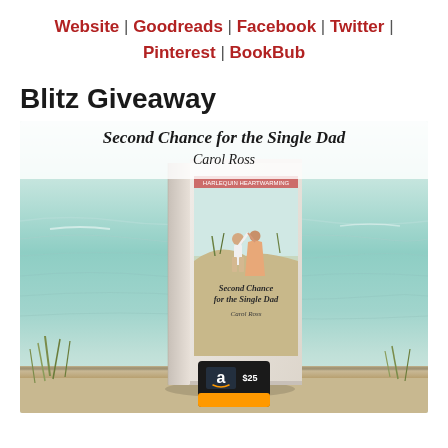Website | Goodreads | Facebook | Twitter | Pinterest | BookBub
Blitz Giveaway
[Figure (illustration): Book cover promo image for 'Second Chance for the Single Dad' by Carol Ross, showing a 3D book mockup against an ocean background with beach/sand. The book cover depicts a couple dancing near sand dunes. An Amazon $25 gift card is shown in the foreground bottom-right of the image.]